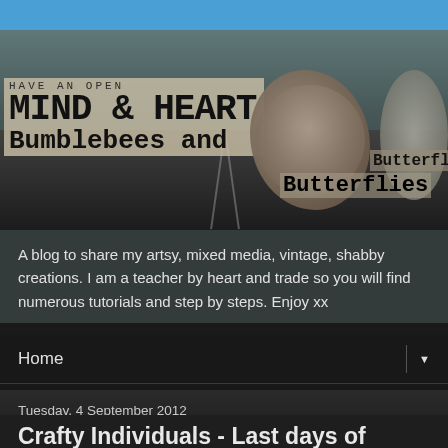[Figure (photo): Blog banner header image showing 'Have an Open Mind & Heart - Bumblebees and Butterflies' with butterfly images and road/sky background]
A blog to share my artsy, mixed media, vintage, shabby creations. I am a teacher by heart and trade so you will find numerous tutorials and step by steps. Enjoy xx
Home ▼
Home ▼
Tuesday, 4 September 2012
Crafty Individuals - Last days of summer
Today I am sharing my first design piece for Crafty Individuals and the September challenge theme is 'The last